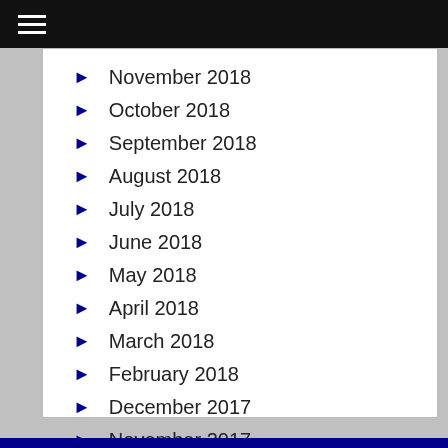November 2018
October 2018
September 2018
August 2018
July 2018
June 2018
May 2018
April 2018
March 2018
February 2018
December 2017
November 2017
October 2017